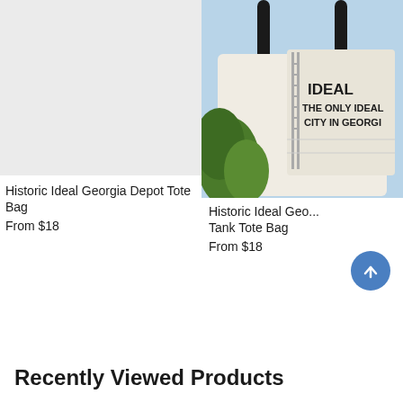[Figure (photo): Light gray placeholder image for Historic Ideal Georgia Depot Tote Bag product listing]
Historic Ideal Georgia Depot Tote Bag
From $18
[Figure (photo): Photo of a tote bag featuring Historic Ideal Georgia Water Tank with text IDEAL THE ONLY IDEAL CITY IN GEORGIA on a white water tower against a blue sky with green foliage]
Historic Ideal Geo... Tank Tote Bag
From $18
Recently Viewed Products